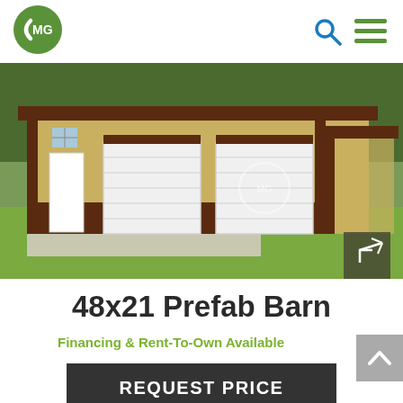[Figure (logo): CMG logo — rounded square with letters CMG on a green circle]
[Figure (photo): A large prefab metal barn building with tan/beige and dark brown siding, two white roll-up garage doors, an open lean-to on the right, a walk-in door on the left side, and a green lawn in the foreground.]
48x21 Prefab Barn
Financing & Rent-To-Own Available
REQUEST PRICE